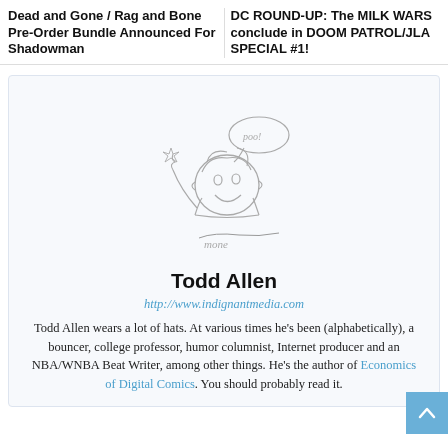Dead and Gone / Rag and Bone Pre-Order Bundle Announced For Shadowman
DC ROUND-UP: The MILK WARS conclude in DOOM PATROL/JLA SPECIAL #1!
[Figure (illustration): Hand-drawn sketch of a cartoon character with a speech bubble, signed by the artist]
Todd Allen
http://www.indignantmedia.com
Todd Allen wears a lot of hats. At various times he's been (alphabetically), a bouncer, college professor, humor columnist, Internet producer and an NBA/WNBA Beat Writer, among other things. He's the author of Economics of Digital Comics. You should probably read it.